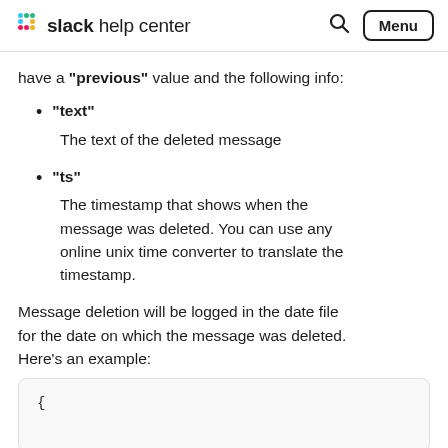slack help center  [search] [Menu]
have a "previous" value and the following info:
"text"
The text of the deleted message
"ts"
The timestamp that shows when the message was deleted. You can use any online unix time converter to translate the timestamp.
Message deletion will be logged in the date file for the date on which the message was deleted. Here's an example:
[Figure (screenshot): Code block showing opening brace '{']